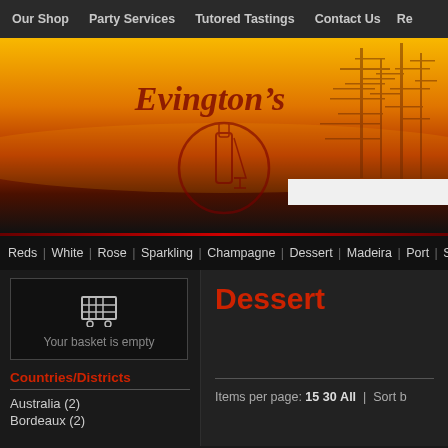Our Shop | Party Services | Tutored Tastings | Contact Us | Re...
[Figure (illustration): Evington's wine shop hero banner with sunset sky background and bare tree silhouette, featuring the Evington's cursive logo text and a wine bottle/glass dark red circular logo emblem]
Reds | White | Rose | Sparkling | Champagne | Dessert | Madeira | Port | Sherry | Other
[Figure (illustration): Shopping cart icon]
Your basket is empty
Countries/Districts
Australia (2)
Bordeaux (2)
Dessert
Items per page: 15 30 All | Sort b...